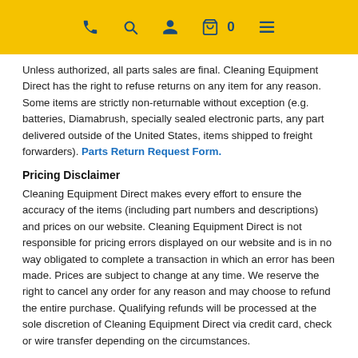[navigation icons: phone, search, user, cart 0, menu]
Unless authorized, all parts sales are final. Cleaning Equipment Direct has the right to refuse returns on any item for any reason. Some items are strictly non-returnable without exception (e.g. batteries, Diamabrush, specially sealed electronic parts, any part delivered outside of the United States, items shipped to freight forwarders). Parts Return Request Form.
Pricing Disclaimer
Cleaning Equipment Direct makes every effort to ensure the accuracy of the items (including part numbers and descriptions) and prices on our website. Cleaning Equipment Direct is not responsible for pricing errors displayed on our website and is in no way obligated to complete a transaction in which an error has been made. Prices are subject to change at any time. We reserve the right to cancel any order for any reason and may choose to refund the entire purchase. Qualifying refunds will be processed at the sole discretion of Cleaning Equipment Direct via credit card, check or wire transfer depending on the circumstances.